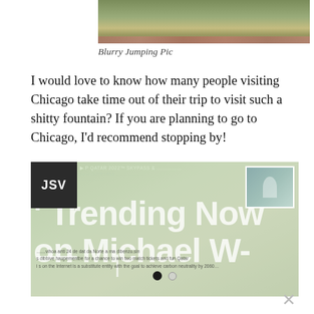[Figure (photo): Partial view of a garden/yard photo (blurry jumping pic), showing brick and foliage]
Blurry Jumping Pic
I would love to know how many people visiting Chicago take time out of their trip to visit such a shitty fountain? If you are planning to go to Chicago, I'd recommend stopping by!
[Figure (screenshot): Screenshot of a social media or news widget labeled JSV showing 'Trending Now on Michael W' overlay text with navigation dots and a thumbnail image in the top right corner]